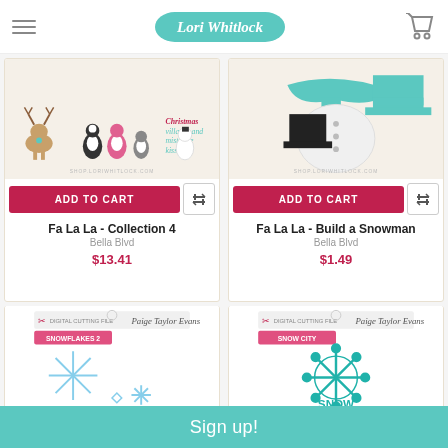Lori Whitlock
[Figure (illustration): Product image: Fa La La Collection 4 - Christmas characters including reindeer, penguins, snowman, with pink text]
[Figure (illustration): Product image: Fa La La Build a Snowman - teal scarf, white snowman body, black top hat on tan background]
ADD TO CART
ADD TO CART
Fa La La - Collection 4
Bella Blvd
$13.41
Fa La La - Build a Snowman
Bella Blvd
$1.49
[Figure (illustration): Digital cutting file product package - Snowflakes, Paige Taylor Evans brand, light blue snowflake designs]
[Figure (illustration): Digital cutting file product package - Snow City, Paige Taylor Evans brand, teal ornate snowflake with SNOW text]
Sign up!